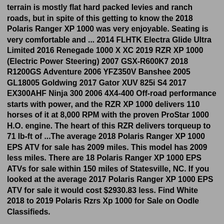terrain is mostly flat hard packed levies and ranch roads, but in spite of this getting to know the 2018 Polaris Ranger XP 1000 was very enjoyable. Seating is very comfortable and ... 2014 FLHTK Electra Glide Ultra Limited 2016 Renegade 1000 X XC 2019 RZR XP 1000 (Electric Power Steering) 2007 GSX-R600K7 2018 R1200GS Adventure 2006 YFZ350V Banshee 2005 GL18005 Goldwing 2017 Gator XUV 825i S4 2017 EX300AHF Ninja 300 2006 4X4-400 Off-road performance starts with power, and the RZR XP 1000 delivers 110 horses of it at 8,000 RPM with the proven ProStar 1000 H.O. engine. The heart of this RZR delivers torqueup to 71 lb-ft of ...The average 2018 Polaris Ranger XP 1000 EPS ATV for sale has 2009 miles. This model has 2009 less miles. There are 18 Polaris Ranger XP 1000 EPS ATVs for sale within 150 miles of Statesville, NC. If you looked at the average 2017 Polaris Ranger XP 1000 EPS ATV for sale it would cost $2930.83 less. Find White 2018 to 2019 Polaris Rzrs Xp 1000 for Sale on Oodle Classifieds.